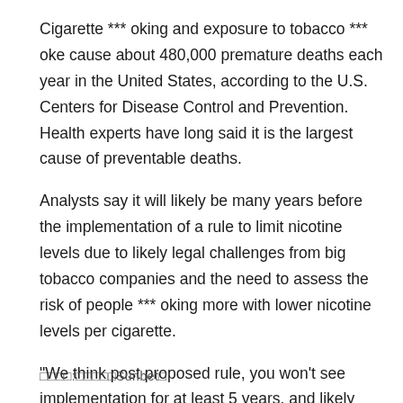Cigarette *** oking and exposure to tobacco *** oke cause about 480,000 premature deaths each year in the United States, according to the U.S. Centers for Disease Control and Prevention. Health experts have long said it is the largest cause of preventable deaths.
Analysts say it will likely be many years before the implementation of a rule to limit nicotine levels due to likely legal challenges from big tobacco companies and the need to assess the risk of people *** oking more with lower nicotine levels per cigarette.
"We think post proposed rule, you won't see implementation for at least 5 years, and likely more towards 10 years," Jefferies *** ysts wrote in a note- Reuters
□□□□:□□□□□Sunbet□